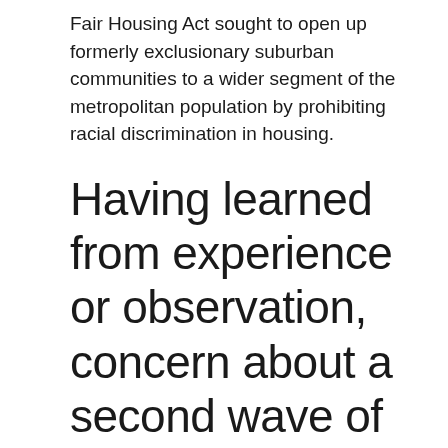Fair Housing Act sought to open up formerly exclusionary suburban communities to a wider segment of the metropolitan population by prohibiting racial discrimination in housing.
Having learned from experience or observation, concern about a second wave of tax-negative